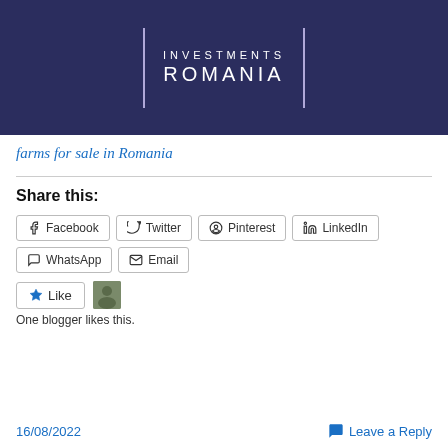[Figure (logo): Investments Romania logo — dark navy background with white uppercase text 'INVESTMENTS' and 'ROMANIA' flanked by vertical lavender lines]
farms for sale in Romania
Share this:
Facebook  Twitter  Pinterest  LinkedIn  WhatsApp  Email
Like  One blogger likes this.
16/08/2022  Leave a Reply